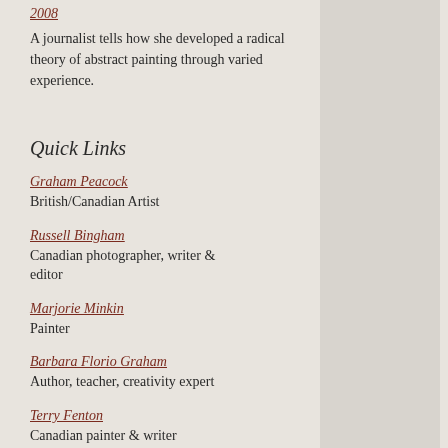2008
A journalist tells how she developed a radical theory of abstract painting through varied experience.
Quick Links
Graham Peacock
British/Canadian Artist
Russell Bingham
Canadian photographer, writer & editor
Marjorie Minkin
Painter
Barbara Florio Graham
Author, teacher, creativity expert
Terry Fenton
Canadian painter & writer